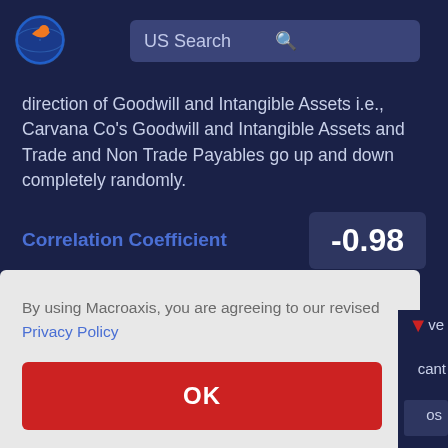[Figure (logo): Macroaxis logo - globe with orange and blue design]
US Search
direction of Goodwill and Intangible Assets i.e., Carvana Co's Goodwill and Intangible Assets and Trade and Non Trade Payables go up and down completely randomly.
Correlation Coefficient   -0.98
By using Macroaxis, you are agreeing to our revised Privacy Policy
OK